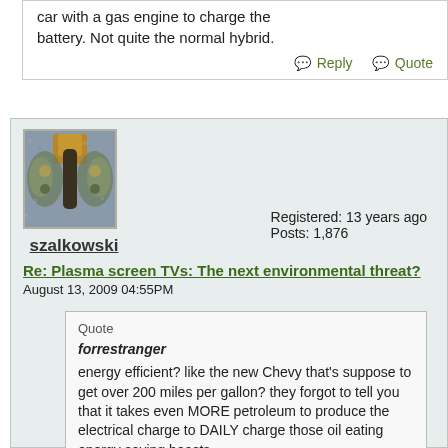car with a gas engine to charge the battery. Not quite the normal hybrid.
Reply   Quote
[Figure (photo): Forum user avatar image showing a butterfly or similar abstract mosaic image]
szalkowski
Registered: 13 years ago
Posts: 1,876
Re: Plasma screen TVs: The next environmental threat?
August 13, 2009 04:55PM
Quote
forrestranger
energy efficient? like the new Chevy that's suppose to get over 200 miles per gallon? they forgot to tell you that it takes even MORE petroleum to produce the electrical charge to DAILY charge those oil eating energy saving beasts.
Petroleum-based electricity generation in the U.S. accounts for only about 2% of the total:
http://en.wikipedia.org/wiki/Electricity_generation